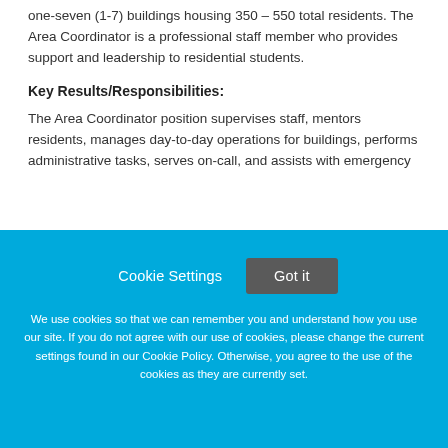one-seven (1-7) buildings housing 350 – 550 total residents. The Area Coordinator is a professional staff member who provides support and leadership to residential students.
Key Results/Responsibilities:
The Area Coordinator position supervises staff, mentors residents, manages day-to-day operations for buildings, performs administrative tasks, serves on-call, and assists with emergency response efforts. The Area Coordinator has additional opportunities for
Cookie Settings
Got it
We use cookies so that we can remember you and understand how you use our site. If you do not agree with our use of cookies, please change the current settings found in our Cookie Policy. Otherwise, you agree to the use of the cookies as they are currently set.